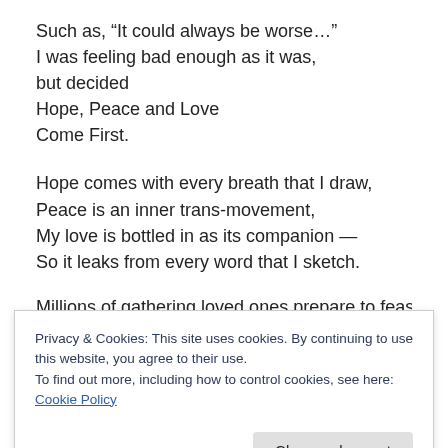Such as, “It could always be worse…”
I was feeling bad enough as it was,
but decided
Hope, Peace and Love
Come First.

Hope comes with every breath that I draw,
Peace is an inner trans-movement,
My love is bottled in as its companion —
So it leaks from every word that I sketch.

Millions of gathering loved ones prepare to feast on this
Privacy & Cookies: This site uses cookies. By continuing to use this website, you agree to their use.
To find out more, including how to control cookies, see here: Cookie Policy
“Mother Fate” will fill me up,